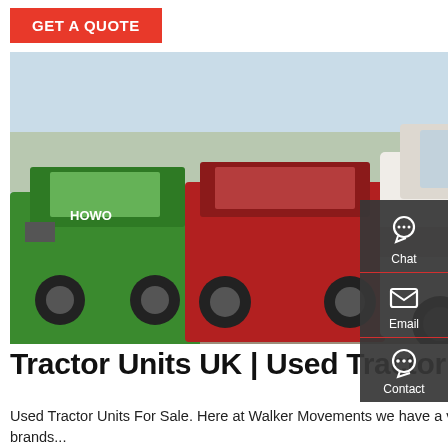GET A QUOTE
[Figure (photo): Multiple tractor units (semi-truck cabs) parked in a lot, including a white HOWO brand tractor unit in center, a green truck on left, and a red truck in between. Bare trees visible in background.]
Tractor Units UK | Used Tractor Units For Sale - Walker
Used Tractor Units For Sale. Here at Walker Movements we have a vast range of used tractor units for sale, with the leading brands...